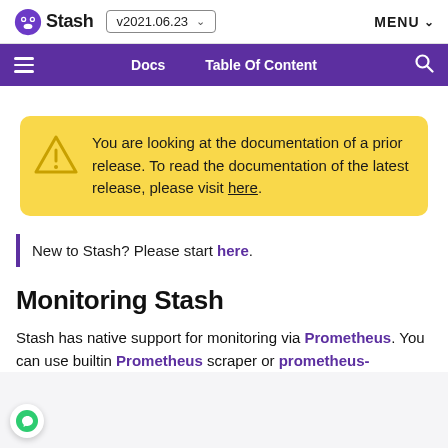Stash v2021.06.23 MENU
Docs  Table Of Content  (search)
You are looking at the documentation of a prior release. To read the documentation of the latest release, please visit here.
New to Stash? Please start here.
Monitoring Stash
Stash has native support for monitoring via Prometheus. You can use builtin Prometheus scraper or prometheus-